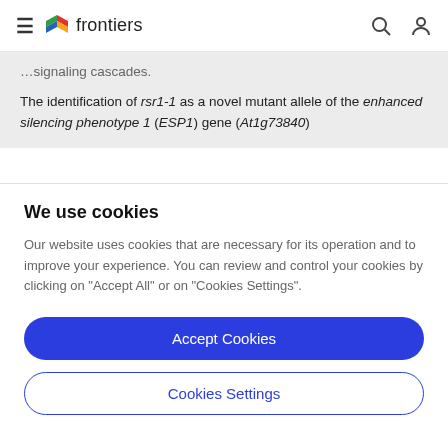frontiers
signaling cascades.

The identification of rsr1-1 as a novel mutant allele of the enhanced silencing phenotype 1 (ESP1) gene (At1g73840)
We use cookies
Our website uses cookies that are necessary for its operation and to improve your experience. You can review and control your cookies by clicking on "Accept All" or on "Cookies Settings".
Accept Cookies
Cookies Settings